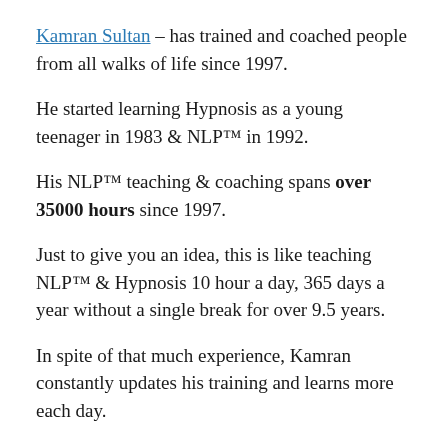Kamran Sultan – has trained and coached people from all walks of life since 1997.
He started learning Hypnosis as a young teenager in 1983 & NLP™ in 1992.
His NLP™ teaching & coaching spans over 35000 hours since 1997.
Just to give you an idea, this is like teaching NLP™ & Hypnosis 10 hour a day, 365 days a year without a single break for over 9.5 years.
In spite of that much experience, Kamran constantly updates his training and learns more each day.